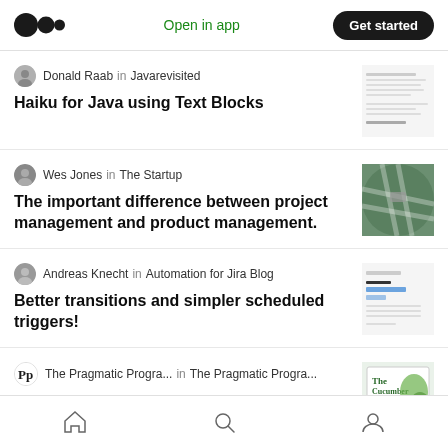Medium — Open in app | Get started
Donald Raab in Javarevisited
Haiku for Java using Text Blocks
[Figure (screenshot): Thumbnail image of code/text screenshot for Haiku for Java article]
Wes Jones in The Startup
The important difference between project management and product management.
[Figure (photo): Aerial photo of highway interchange]
Andreas Knecht in Automation for Jira Blog
Better transitions and simpler scheduled triggers!
[Figure (screenshot): Thumbnail screenshot of Jira automation interface with bar chart]
The Pragmatic Progra... in The Pragmatic Progra...
Adding New Behavior
[Figure (photo): The Cucumber Book cover thumbnail]
Home | Search | Profile